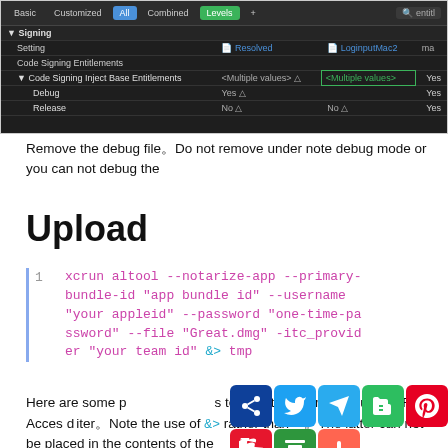[Figure (screenshot): Xcode build settings screenshot showing Signing section with Code Signing Entitlements and Code Signing Inject Base Entitlements rows. Tabs: Basic, Customized, All, Combined, Levels. Search box shows 'entitl'. Rows show Debug (Yes/Yes) and Release (No/No) values.]
Remove the debug file。Do not remove under note debug mode or you can not debug the
Upload
xcrun altool --notarize-app --primary-bundle-id "app bundle id" --username "your appleid" --password "one-time-password" --file "Great.dmg" -itc_provider "your team id"  &> tmp
Here are some parameters to redirect the first output tmp File Access and any stderror。Note the use of &> rather than > 。The latter can not be placed in the contents of the